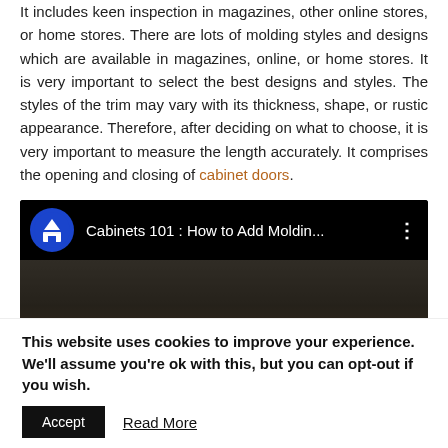It includes keen inspection in magazines, other online stores, or home stores. There are lots of molding styles and designs which are available in magazines, online, or home stores. It is very important to select the best designs and styles. The styles of the trim may vary with its thickness, shape, or rustic appearance. Therefore, after deciding on what to choose, it is very important to measure the length accurately. It comprises the opening and closing of cabinet doors.
[Figure (screenshot): YouTube video embed showing 'Cabinets 101 : How to Add Moldin...' with a house channel icon and three-dot menu. Below is a dark thumbnail showing cabinet molding.]
This website uses cookies to improve your experience. We'll assume you're ok with this, but you can opt-out if you wish.